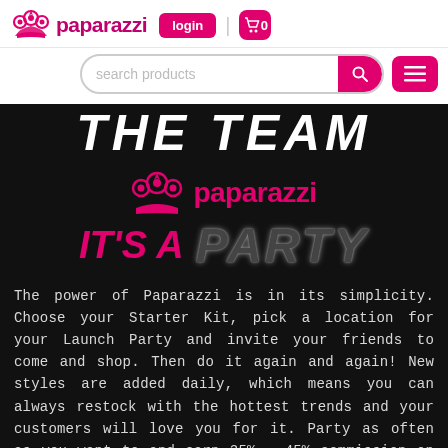paparazzi | login | 0
search products
THE TEAM
[Figure (logo): Paparazzi logo with crown icon and text 'paparazzi' in pink, followed by 'IT'S A PARTY' text where IT'S A is in pink and PARTY is in sparkly dark letters on black background]
The power of Paparazzi is in its simplicity. Choose your Starter Kit, pick a location for your Launch Party and invite your friends to come and shop. Then do it again and again! New styles are added daily, which means you can always restock with the hottest trends and your customers will love you for it. Party as often as you want to and earn 35% - 45% commission on every accessory you